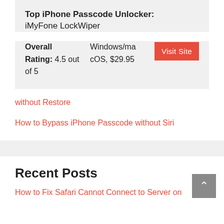Top iPhone Passcode Unlocker: iMyFone LockWiper
Overall Rating: 4.5 out of 5   Windows/macOS, $29.95   Visit Site
without Restore
How to Bypass iPhone Passcode without Siri
Recent Posts
How to Fix Safari Cannot Connect to Server on